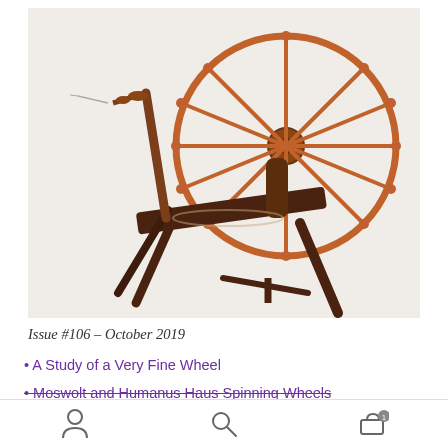[Figure (photo): Antique wooden spinning wheel with a large spoked wheel on the right, distaff/flyer assembly on the left, mounted on a dark wooden frame with turned legs, photographed against a light beige/cream background.]
Issue #106 – October 2019
• A Study of a Very Fine Wheel
• Moswolt and Humanus Haus Spinning Wheels